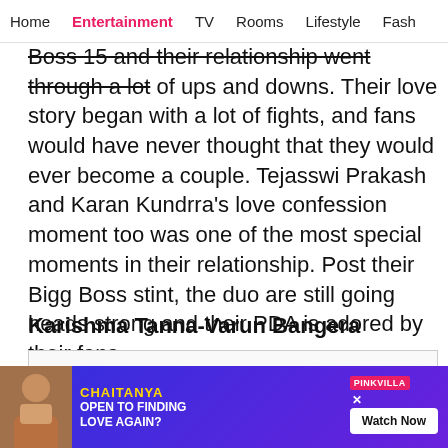Home | Entertainment | TV | Rooms | Lifestyle | Fash
Boss 15 and their relationship went through a lot of ups and downs. Their love story began with a lot of fights, and fans would have never thought that they would ever become a couple. Tejasswi Prakash and Karan Kundrra's love confession moment too was one of the most special moments in their relationship. Post their Bigg Boss stint, the duo are still going heads strong and their PDA is adored by their fans.
Karishma Tanna-Varun Bangera
[Figure (other): Image placeholder box below section header]
[Figure (infographic): Social sharing icons: WhatsApp (green), Facebook (blue), Twitter (blue), More/chat (pink/red)]
[Figure (infographic): Advertisement banner: Chaitanya - Open to Finding Love Again? with Watch Now button, Pinkvilla branding]